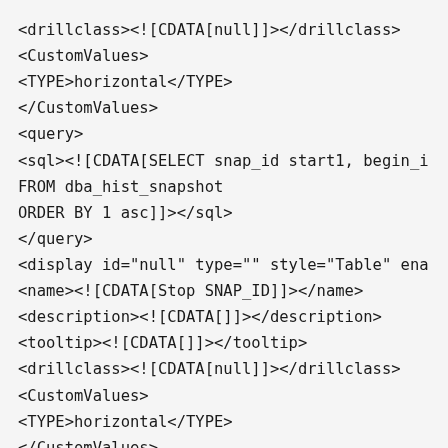<drillclass><![CDATA[null]]></drillclass>
<CustomValues>
<TYPE>horizontal</TYPE>
</CustomValues>
<query>
<sql><![CDATA[SELECT snap_id start1, begin_i
FROM dba_hist_snapshot
ORDER BY 1 asc]]></sql>
</query>
<display id="null" type="" style="Table" ena
<name><![CDATA[Stop SNAP_ID]]></name>
<description><![CDATA[]]></description>
<tooltip><![CDATA[]]></tooltip>
<drillclass><![CDATA[null]]></drillclass>
<CustomValues>
<TYPE>horizontal</TYPE>
</CustomValues>
<QUERY>